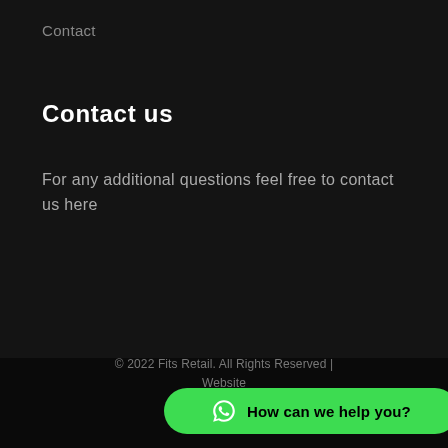Contact
Contact us
For any additional questions feel free to contact us here
© 2022 Fits Retail. All Rights Reserved | Website
[Figure (other): WhatsApp chat widget button with green background, WhatsApp icon, and text 'How can we help you?']